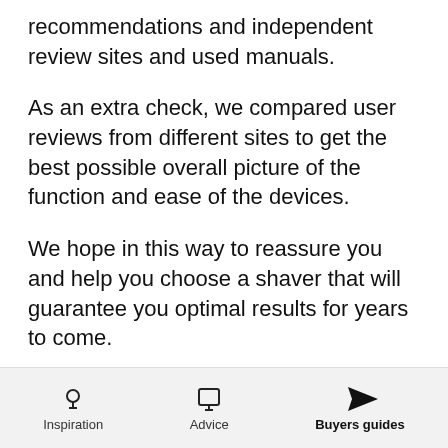recommendations and independent review sites and used manuals.
As an extra check, we compared user reviews from different sites to get the best possible overall picture of the function and ease of the devices.
We hope in this way to reassure you and help you choose a shaver that will guarantee you optimal results for years to come.
Note: We update this buying guide periodically in
Inspiration   Advice   Buyers guides